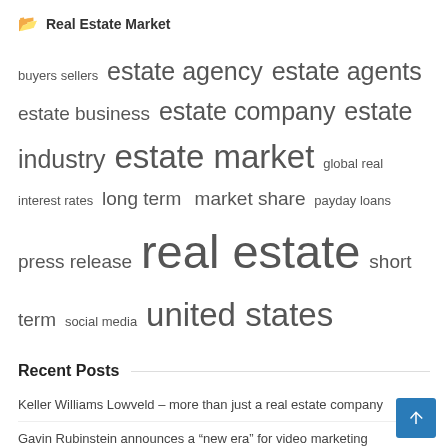Real Estate Market
[Figure (infographic): Tag cloud with real estate related terms in varying font sizes: buyers sellers, estate agency, estate agents, estate business, estate company, estate industry, estate market, global real, interest rates, long term, market share, payday loans, press release, real estate, short term, social media, united states]
Recent Posts
Keller Williams Lowveld – more than just a real estate company
Gavin Rubinstein announces a “new era” for video marketing